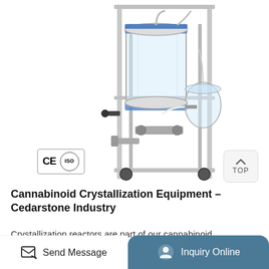[Figure (photo): Laboratory crystallization reactor equipment on a stainless steel frame with glass vessels, blue clamps, tubing, and wheels. CE and ISO certification badges shown in lower left corner. A 'TOP' navigation button in lower right.]
Cannabinoid Crystallization Equipment – Cedarstone Industry
Crystallization reactors are part of our cannabinoid crystallization equipment. These crystallization tanks are designed, manufactured, and inspected in accordance with the ASME Boiler
Send Message
Inquiry Online